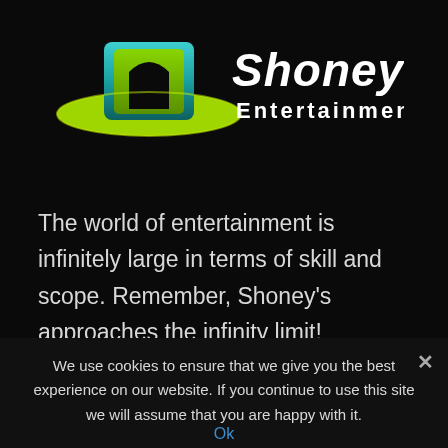[Figure (logo): Shoney's Entertainment logo: a green and blue hat with yellow-green brim on the left, and stylized white italic script 'Shoney's' with bold white 'Entertainment' text on the right]
The world of entertainment is infinitely large in terms of skill and scope. Remember, Shoney's approaches the infinity limit!
[Figure (infographic): Social media icons: Facebook (f), Twitter (bird/checkmark), LinkedIn (in), and a chevron-up arrow on the right side]
We use cookies to ensure that we give you the best experience on our website. If you continue to use this site we will assume that you are happy with it.
Ok